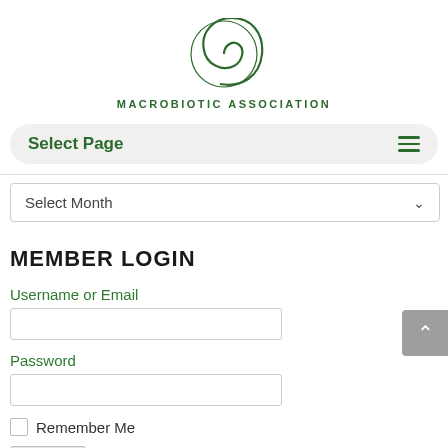[Figure (logo): Macrobiotic Association spiral logo with text MACROBIOTIC ASSOCIATION below]
Select Page
Select Month
MEMBER LOGIN
Username or Email
Password
Remember Me